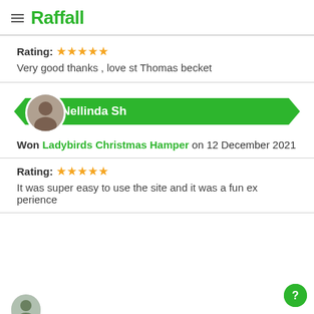Raffall
Rating: ★★★★★
Very good thanks , love st Thomas becket
[Figure (other): Winner banner for Nellinda Sh with circular avatar photo]
Won Ladybirds Christmas Hamper on 12 December 2021
Rating: ★★★★★
It was super easy to use the site and it was a fun experience